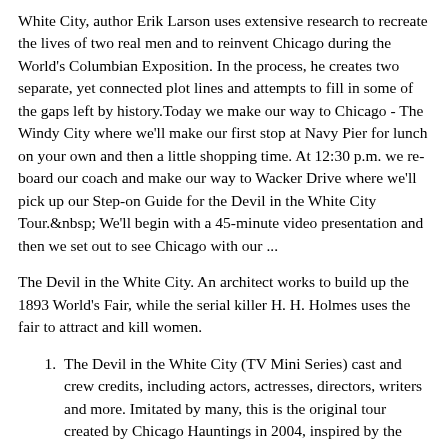White City, author Erik Larson uses extensive research to recreate the lives of two real men and to reinvent Chicago during the World's Columbian Exposition. In the process, he creates two separate, yet connected plot lines and attempts to fill in some of the gaps left by history.Today we make our way to Chicago - The Windy City where we'll make our first stop at Navy Pier for lunch on your own and then a little shopping time. At 12:30 p.m. we reboard our coach and make our way to Wacker Drive where we'll pick up our Step-on Guide for the Devil in the White City Tour.&nbsp; We'll begin with a 45-minute video presentation and then we set out to see Chicago with our ...
The Devil in the White City. An architect works to build up the 1893 World's Fair, while the serial killer H. H. Holmes uses the fair to attract and kill women.
The Devil in the White City (TV Mini Series) cast and crew credits, including actors, actresses, directors, writers and more. Imitated by many, this is the original tour created by Chicago Hauntings in 2004, inspired by the phenomenonal best seller, The Devil and the White City, Erik Larson's brilliant look at the minds behind the best and worst achievements of Victorian Era Chicago. H.H. Holmes, The Murder Castle, The World's Fair & Victorian Chicago tour.
Allie pleiter booksCookbook for saucesRick riordan.